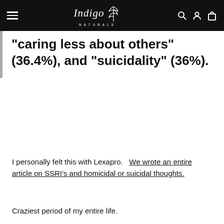Indigo Naturals
"caring less about others" (36.4%), and "suicidality" (36%).
I personally felt this with Lexapro.   We wrote an entire article on SSRI's and homicidal or suicidal thoughts.
Craziest period of my entire life.